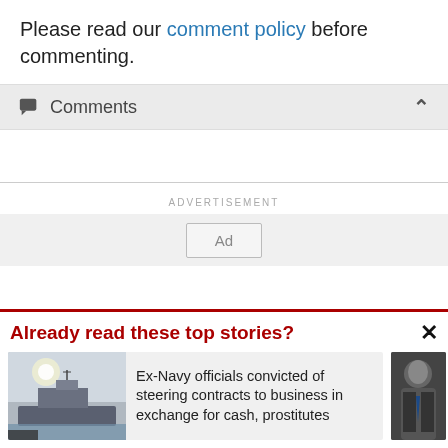Please read our comment policy before commenting.
Comments
ADVERTISEMENT
Already read these top stories?
Ex-Navy officials convicted of steering contracts to business in exchange for cash, prostitutes